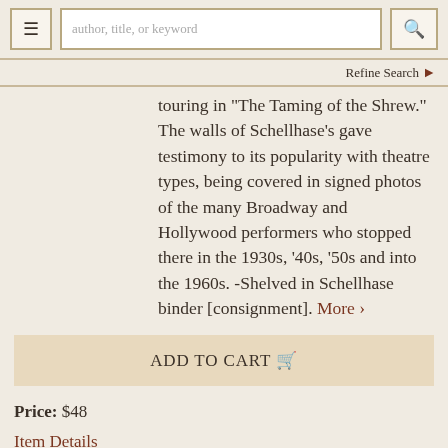[Figure (screenshot): Navigation bar with hamburger menu button, search input field with placeholder 'author, title, or keyword', and search button]
Refine Search ❯
touring in "The Taming of the Shrew." The walls of Schellhase's gave testimony to its popularity with theatre types, being covered in signed photos of the many Broadway and Hollywood performers who stopped there in the 1930s, '40s, '50s and into the 1960s. -Shelved in Schellhase binder [consignment]. More ›
ADD TO CART 🛒
Price: $48
Item Details
Ask a Question
1235320